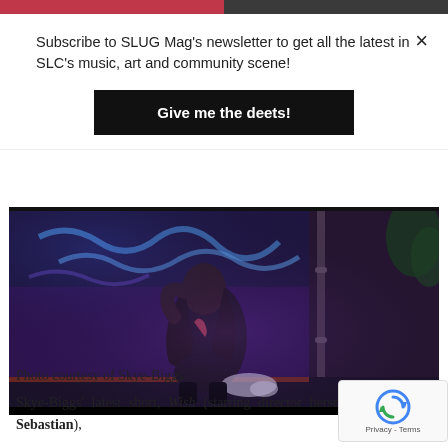Subscribe to SLUG Mag's newsletter to get all the latest in SLC's music, art and community scene!
Give me the deets!
[Figure (photo): A person crouched against a graffiti-covered wall under purple/blue lighting, wearing dark clothing, with a bag on the ground beside them.]
Photo courtesy of Skye-Biggs
Skye-Biggs' latest short, Wish (starring director herself and her son, Sebastian),